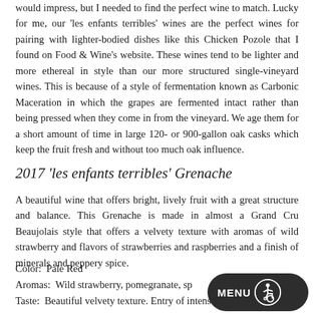would impress, but I needed to find the perfect wine to match. Lucky for me, our 'les enfants terribles' wines are the perfect wines for pairing with lighter-bodied dishes like this Chicken Pozole that I found on Food & Wine's website. These wines tend to be lighter and more ethereal in style than our more structured single-vineyard wines. This is because of a style of fermentation known as Carbonic Maceration in which the grapes are fermented intact rather than being pressed when they come in from the vineyard. We age them for a short amount of time in large 120- or 900-gallon oak casks which keep the fruit fresh and without too much oak influence.
2017 'les enfants terribles' Grenache
A beautiful wine that offers bright, lively fruit with a great structure and balance. This Grenache is made in almost a Grand Cru Beaujolais style that offers a velvety texture with aromas of wild strawberry and flavors of strawberries and raspberries and a finish of minerals and peppery spice.
Color:  Pale Red
Aromas:  Wild strawberry, pomegranate, sp...
Taste:  Beautiful velvety texture. Entry of intense